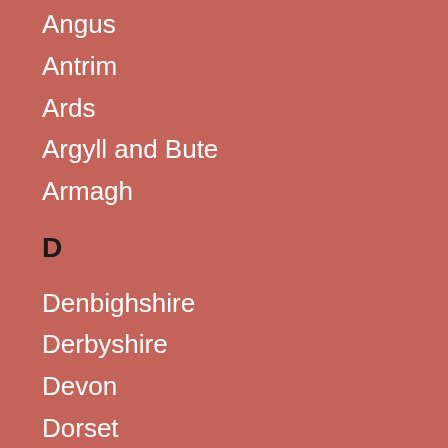Angus
Antrim
Ards
Argyll and Bute
Armagh
D
Denbighshire
Derbyshire
Devon
Dorset
Down
Dumfries and Galloway
Dunbartonshire
Dungannon